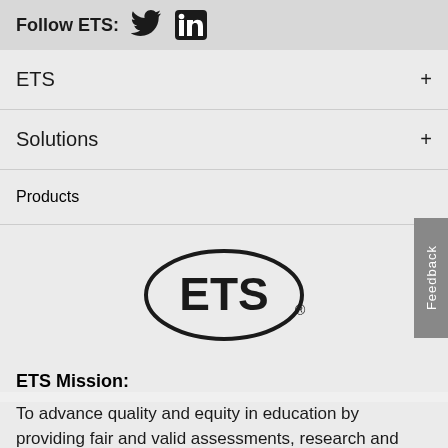Follow ETS:
ETS
Solutions
Products
[Figure (logo): ETS logo — the letters ETS inside a bold oval, with a registered trademark symbol]
ETS Mission:
To advance quality and equity in education by providing fair and valid assessments, research and related services. Our products and services measure knowledge